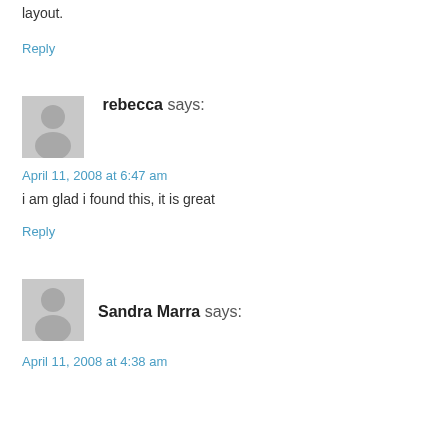layout.
Reply
[Figure (illustration): Generic grey avatar icon for user rebecca]
rebecca says:
April 11, 2008 at 6:47 am
i am glad i found this, it is great
Reply
[Figure (illustration): Generic grey avatar icon for user Sandra Marra]
Sandra Marra says:
April 11, 2008 at 4:38 am